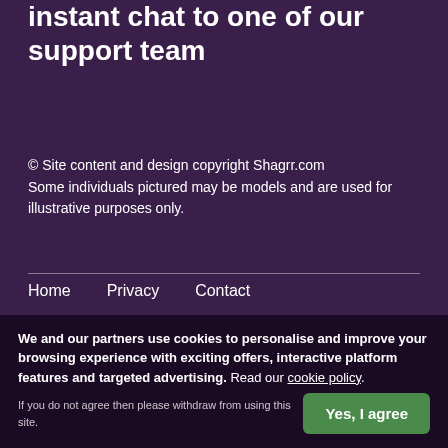instant chat to one of our support team
© Site content and design copyright Shagrr.com
Some individuals pictured may be models and are used for illustrative purposes only.
Home    Privacy    Contact
Secured using SSL and protected by onlinedatingprotector.com and Scamalytics
Australia    United Kingdom    USA    South Africa
Ireland
We and our partners use cookies to personalise and improve your browsing experience with exciting offers, interactive platform features and targeted advertising. Read our cookie policy.
If you do not agree then please withdraw from using this site.